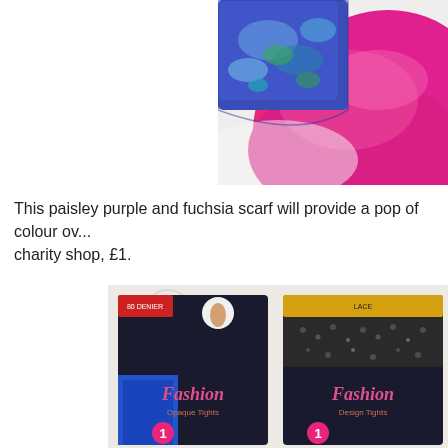[Figure (photo): A paisley purple and fuchsia silk scarf laid on a white surface, showing blue and purple paisley pattern on one corner and bright fuchsia/magenta fabric.]
This paisley purple and fuchsia scarf will provide a pop of colour ov... charity shop, £1.
[Figure (photo): Two packages of Fashion tights on a light background. Left package shows 'Fashion Opaque Tights' with a blue fabric visible, right package shows 'Fashion Design Tights' with a patterned/lace design.]